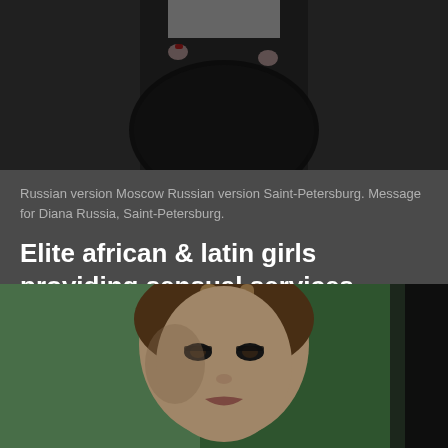[Figure (photo): Partial view of a woman from torso down, wearing a white top and dark patterned skirt, dark background]
Russian version Moscow Russian version Saint-Petersburg. Message for Diana Russia, Saint-Petersburg.
Elite african & latin girls providing sensual services
Make a booking today and let us know your wishes. Open now! When you are ready to take the plunge simply contact one of these black London escorts directly using the contact details provided.
[Figure (photo): Close-up photo of a young woman with highlighted brown hair against a green background, partially visible dark element on right]